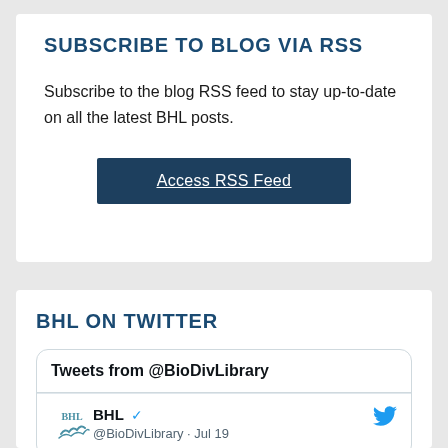SUBSCRIBE TO BLOG VIA RSS
Subscribe to the blog RSS feed to stay up-to-date on all the latest BHL posts.
Access RSS Feed
BHL ON TWITTER
Tweets from @BioDivLibrary
BHL @BioDivLibrary · Jul 19